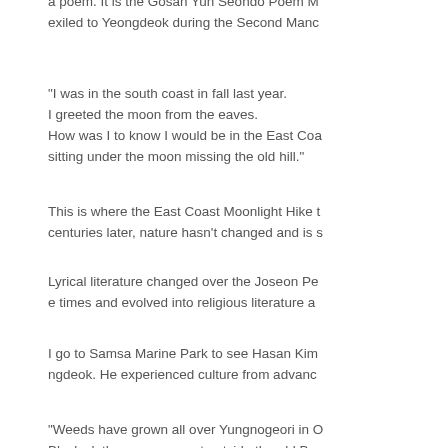a poem. It is the Gosan Yun Seondo Poem M... exiled to Yeongdeok during the Second Manc...
"I was in the south coast in fall last year. I greeted the moon from the eaves. How was I to know I would be in the East Coa... sitting under the moon missing the old hill."
This is where the East Coast Moonlight Hike t... centuries later, nature hasn't changed and is s...
Lyrical literature changed over the Joseon Pe... e times and evolved into religious literature a...
I go to Samsa Marine Park to see Hasan Kim... ngdeok. He experienced culture from advanc...
"Weeds have grown all over Yungnogeori in O... Black clothes are rampant outside the old Bos... The pines of Mt. Bugaksan look sad. The sound of Jaha-dong shallows is choked w...
Here is another poem that expresses the frus...
"A wayfarer stands on the pavilion and thinks...